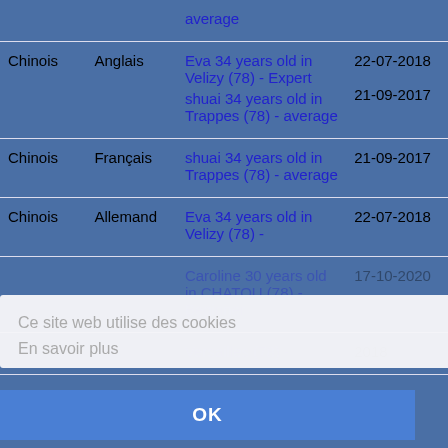|  |  |  |  |
| --- | --- | --- | --- |
| Chinois | Anglais | Eva 34 years old in Velizy (78) - Expert | 22-07-2018 |
|  |  | shuai 34 years old in Trappes (78) - average | 21-09-2017 |
| Chinois | Français | shuai 34 years old in Trappes (78) - average | 21-09-2017 |
| Chinois | Allemand | Eva 34 years old in Velizy (78) - | 22-07-2018 |
|  |  | [cookie overlay obscured] | 2020 |
|  |  | [cookie overlay obscured] | 2018 |
|  |  | Versailles (78) - |  |
Ce site web utilise des cookies
En savoir plus
OK